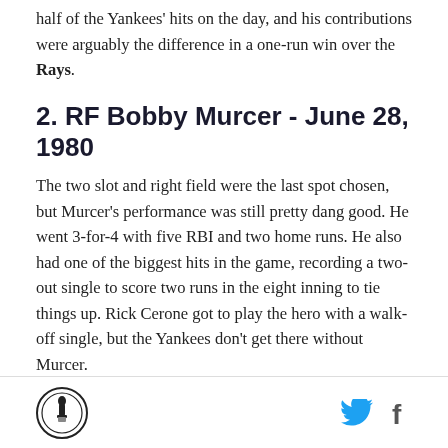half of the Yankees' hits on the day, and his contributions were arguably the difference in a one-run win over the Rays.
2. RF Bobby Murcer - June 28, 1980
The two slot and right field were the last spot chosen, but Murcer's performance was still pretty dang good. He went 3-for-4 with five RBI and two home runs. He also had one of the biggest hits in the game, recording a two-out single to score two runs in the eight inning to tie things up. Rick Cerone got to play the hero with a walk-off single, but the Yankees don't get there without Murcer.
Logo | Twitter | Facebook